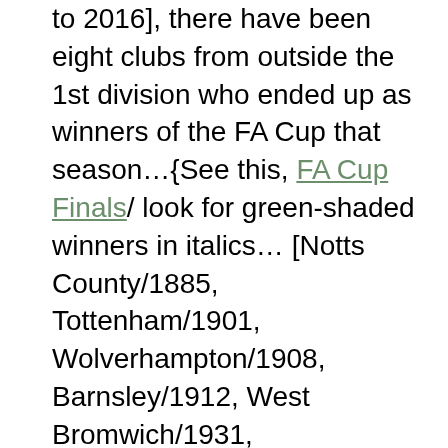to 2016], there have been eight clubs from outside the 1st division who ended up as winners of the FA Cup that season…{See this, FA Cup Finals/ look for green-shaded winners in italics… [Notts County/1885, Tottenham/1901, Wolverhampton/1908, Barnsley/1912, West Bromwich/1931, Sunderland/1973, Southampton/1976, West Ham United/1980].}